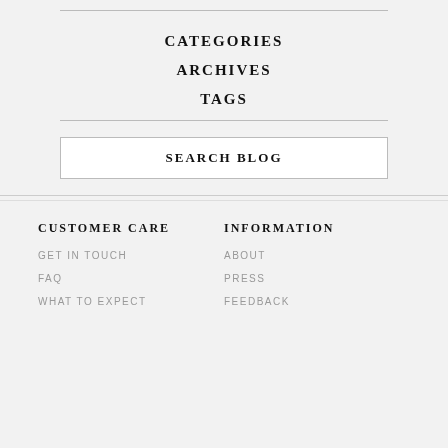CATEGORIES
ARCHIVES
TAGS
SEARCH BLOG
CUSTOMER CARE
GET IN TOUCH
FAQ
WHAT TO EXPECT
INFORMATION
ABOUT
PRESS
FEEDBACK